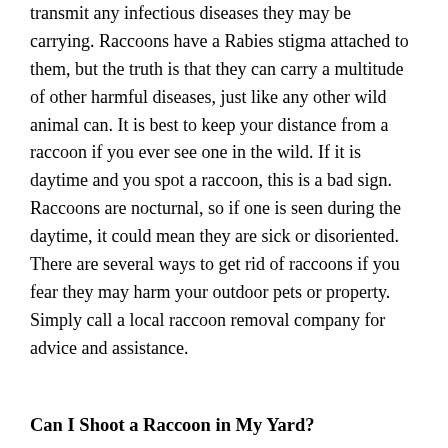transmit any infectious diseases they may be carrying. Raccoons have a Rabies stigma attached to them, but the truth is that they can carry a multitude of other harmful diseases, just like any other wild animal can. It is best to keep your distance from a raccoon if you ever see one in the wild. If it is daytime and you spot a raccoon, this is a bad sign. Raccoons are nocturnal, so if one is seen during the daytime, it could mean they are sick or disoriented. There are several ways to get rid of raccoons if you fear they may harm your outdoor pets or property. Simply call a local raccoon removal company for advice and assistance.
Can I Shoot a Raccoon in My Yard?
There is really not a yes answer to this question, simply because it differs legally state to state. Also, it is never recommended to shoot and kill a wild animal unless it is the appropriate hunting season and the carcass will be used for food and other beneficial commodities. If you are experiencing a raccoon problem, notify a raccoon control specialist in your area. They can set up safe and humane